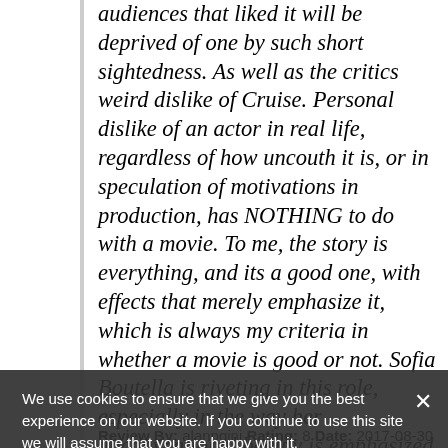audiences that liked it will be deprived of one by such short sightedness. As well as the critics weird dislike of Cruise. Personal dislike of an actor in real life, regardless of how uncouth it is, or in speculation of motivations in production, has NOTHING to do with a movie. To me, the story is everything, and its a good one, with effects that merely emphasize it, which is always my criteria in whether a movie is good or not. Sofia Boutella is riveting in this role, especially in the way her unconventional beauty is emphasized by her extreme talent. Its her and Eva Green, who are at the forefront of this type of great young actress of the future. There is no prejudice here. I rate it as I see it, and not with any preconceived notions. Its worth the watch.
We use cookies to ensure that we give you the best experience on our website. If you continue to use this site we will assume that you are happy with it.
OK   Privacy Policy
Review By: alanpgini Rating: 8 Date: 2017-08-30